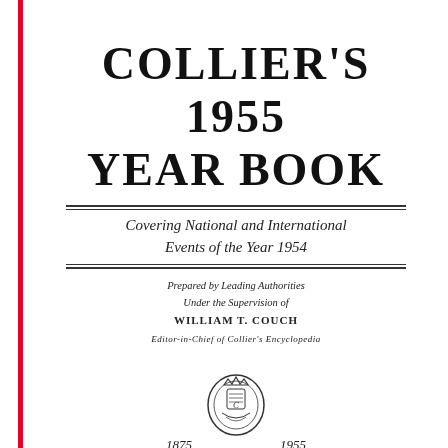COLLIER'S 1955 YEAR BOOK
Covering National and International Events of the Year 1954
Prepared by Leading Authorities Under the Supervision of WILLIAM T. COUCH Editor-in-Chief of Collier's Encyclopedia
[Figure (logo): Publisher emblem/crest with '1875 1955' and 'Eighty Years of Book Publishing']
Eighty Years of Book Publishing